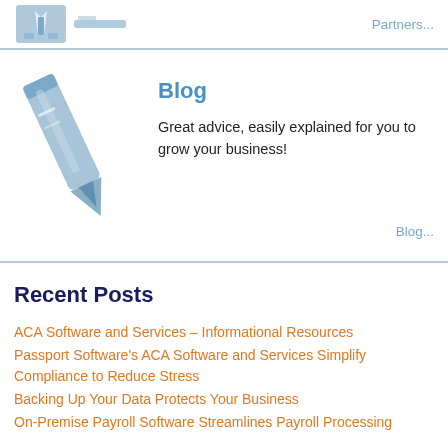[Figure (logo): Blue suit/tie icon and logo mark at top left]
Partners...
[Figure (illustration): Light blue pencil/pen illustration icon]
Blog
Great advice, easily explained for you to grow your business!
Blog...
Recent Posts
ACA Software and Services – Informational Resources
Passport Software's ACA Software and Services Simplify Compliance to Reduce Stress
Backing Up Your Data Protects Your Business
On-Premise Payroll Software Streamlines Payroll Processing